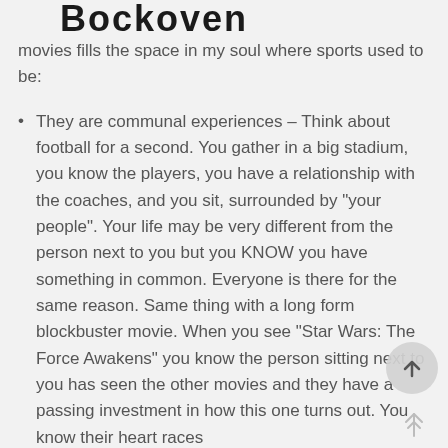Bockoven
movies fills the space in my soul where sports used to be:
They are communal experiences – Think about football for a second. You gather in a big stadium, you know the players, you have a relationship with the coaches, and you sit, surrounded by "your people". Your life may be very different from the person next to you but you KNOW you have something in common. Everyone is there for the same reason. Same thing with a long form blockbuster movie. When you see "Star Wars: The Force Awakens" you know the person sitting next to you has seen the other movies and they have a passing investment in how this one turns out. You know their heart races